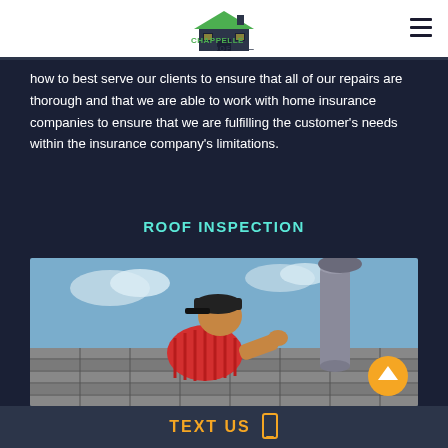Chappelle Roofing
how to best serve our clients to ensure that all of our repairs are thorough and that we are able to work with home insurance companies to ensure that we are fulfilling the customer's needs within the insurance company's limitations.
ROOF INSPECTION
[Figure (photo): A roofer in a red striped shirt and black cap inspecting a rooftop vent/pipe on a shingled roof, with blue sky in the background.]
TEXT US